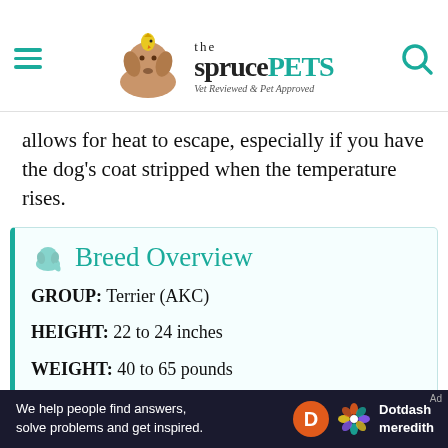the spruce PETS — Vet Reviewed & Pet Approved
allows for heat to escape, especially if you have the dog's coat stripped when the temperature rises.
Breed Overview
| Attribute | Value |
| --- | --- |
| GROUP: | Terrier (AKC) |
| HEIGHT: | 22 to 24 inches |
| WEIGHT: | 40 to 65 pounds |
| COAT: | Hard, wiry, dense, straight, short |